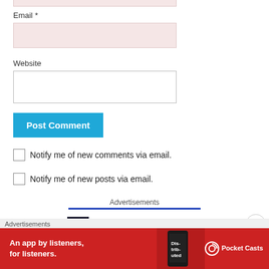Email *
Website
Post Comment
Notify me of new comments via email.
Notify me of new posts via email.
Advertisements
Advertisements
[Figure (screenshot): Pocket Casts advertisement banner: red background with text 'An app by listeners, for listeners.' and Pocket Casts logo with phone image]